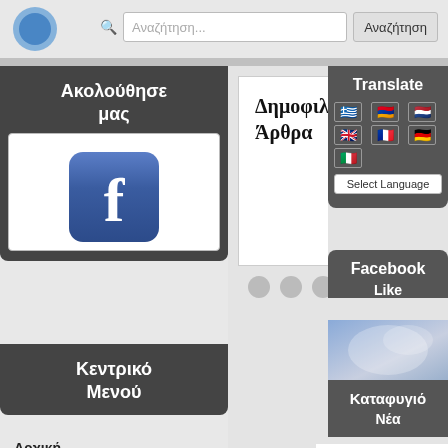[Figure (screenshot): Website screenshot showing Greek-language site with search bar, navigation sidebar, Facebook widget, Translate widget, and article section]
Αναζήτηση...
Αναζήτηση
Ακολούθησε μας
[Figure (logo): Facebook logo icon - blue square with white f]
Δημοφιλή Άρθρα
Κεντρικό Μενού
Αρχική Σελίδα
Forum
Ορεινής
Translate
Select Language
Facebook
Like
Καταφυγιό
Νέα
Υπογράφτηκε μελέτη για την